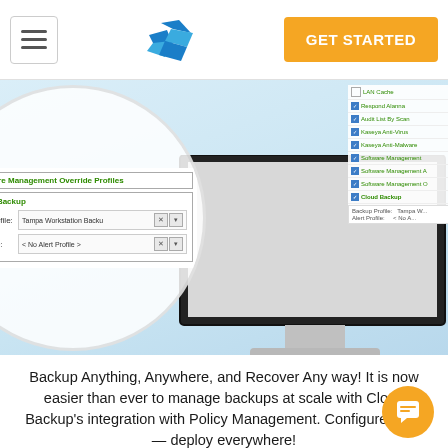[Figure (screenshot): Navigation bar with hamburger menu on left, blue K logo in center, orange GET STARTED button on right]
[Figure (screenshot): Hero section showing a magnified view of a software management UI with Cloud Backup configuration panel showing Backup Profile: Tampa Workstation Backu and Alert Profile: < No Alert Profile >, overlaid on a desktop monitor image with light blue background]
Backup Anything, Anywhere, and Recover Any way! It is now easier than ever to manage backups at scale with Cloud Backup's integration with Policy Management. Configure once — deploy everywhere!